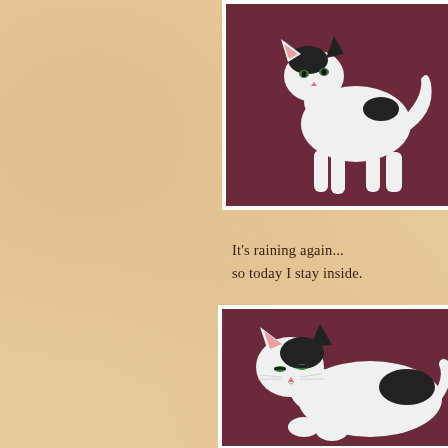[Figure (photo): Black and white cat standing on dark purple/maroon surface, viewed from side, head turned toward camera]
It's raining again...
so today I stay inside.
[Figure (photo): Black and white cat lying/sitting on dark purple/maroon surface, facing camera with eyes half closed]